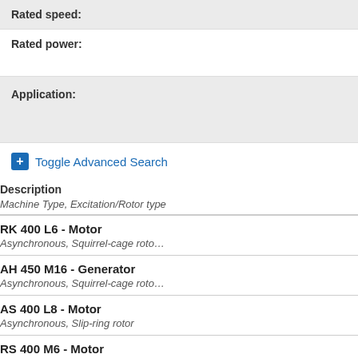| Field | Value |
| --- | --- |
| Rated speed: |  |
| Rated power: |  |
| Application: |  |
+ Toggle Advanced Search
Description
Machine Type, Excitation/Rotor type
RK 400 L6 - Motor
Asynchronous, Squirrel-cage rotor
AH 450 M16 - Generator
Asynchronous, Squirrel-cage rotor
AS 400 L8 - Motor
Asynchronous, Slip-ring rotor
RS 400 M6 - Motor
Asynchronous, Slip-ring rotor